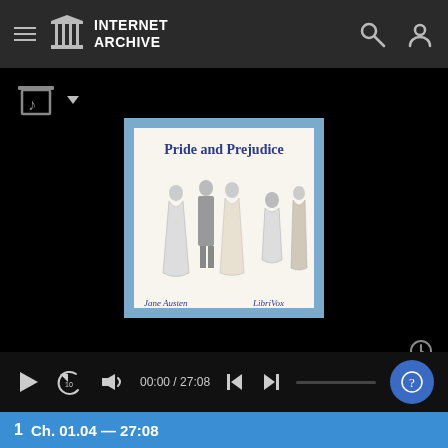INTERNET ARCHIVE
[Figure (screenshot): Music/audio icon with dropdown arrow in top-left content area]
[Figure (illustration): Pride and Prejudice audiobook cover art showing Regency-era figures, title 'Pride and Prejudice', author 'Jane Austen', publisher 'LibriVox']
[Figure (screenshot): Audio player controls: play button, replay-10 button, volume button, time display '00:00 / 27:08', skip-to-start button, skip-to-end button, progress bar, help/question mark button]
1  Ch. 01.04  27:08